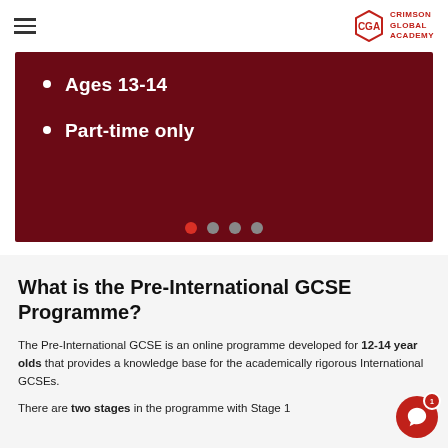Crimson Global Academy
Ages 13-14
Part-time only
What is the Pre-International GCSE Programme?
The Pre-International GCSE is an online programme developed for 12-14 year olds that provides a knowledge base for the academically rigorous International GCSEs.
There are two stages in the programme with Stage 1